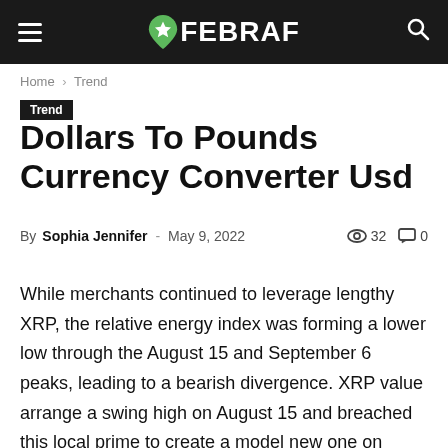FEBRAF
Home › Trend
Trend
Dollars To Pounds Currency Converter Usd
By Sophia Jennifer - May 9, 2022   32   0
While merchants continued to leverage lengthy XRP, the relative energy index was forming a lower low through the August 15 and September 6 peaks, leading to a bearish divergence. XRP value arrange a swing high on August 15 and breached this local prime to create a model new one on September 6. However, the second attempt failed because the market experienced massive selling strain the next day. Now, Ripple is continuing to go decrease with no indicators of